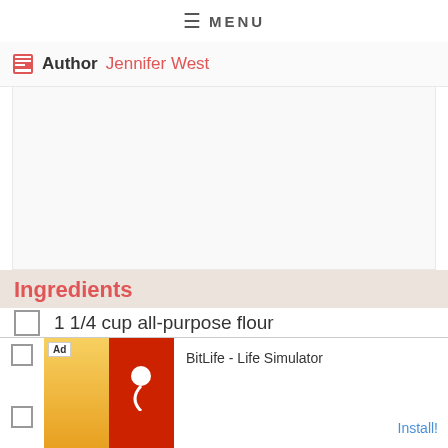☰ MENU
Author Jennifer West
[Figure (photo): Blank/white image placeholder area in recipe article]
Ingredients
1 1/4 cup all-purpose flour
[Figure (screenshot): Ad banner: BitLife - Life Simulator, Install button]